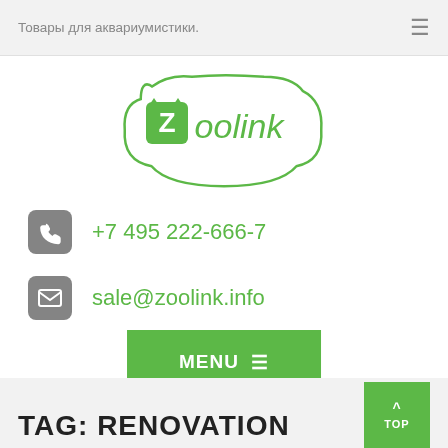Товары для аквариумистики.
[Figure (logo): Zoolink logo — green speech-bubble shape with stylized Z and 'zoolink' text in green handwritten font]
+7 495 222-666-7
sale@zoolink.info
MENU ≡
TAG: RENOVATION